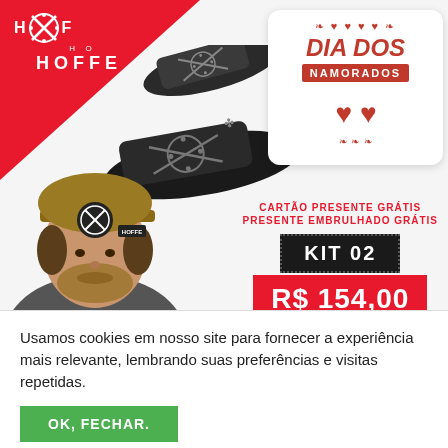[Figure (infographic): Hoffe brand advertisement for Dia dos Namorados (Valentine's Day) showing black slide sandals, a person wearing a brown cap, a gift card, promotional text 'CARTÃO PRESENTE GRÁTIS PRESENTE EMBRULHADO GRÁTIS', KIT 02 label, and price R$ 154,00]
Usamos cookies em nosso site para fornecer a experiência mais relevante, lembrando suas preferências e visitas repetidas.
OK, FECHAR.